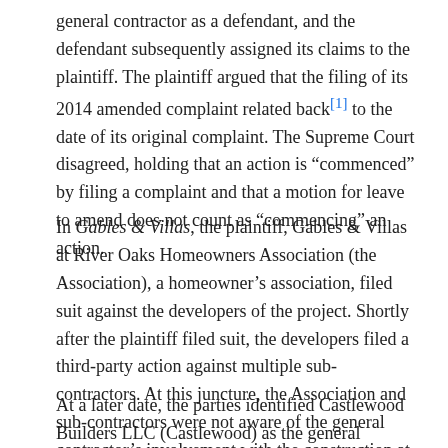general contractor as a defendant, and the defendant subsequently assigned its claims to the plaintiff. The plaintiff argued that the filing of its 2014 amended complaint related back[1] to the date of its original complaint. The Supreme Court disagreed, holding that an action is "commenced" by filing a complaint and that a motion for leave to amend does not count as "commencing" an action.
In Gables & Villas, the plaintiff, Gables & Villas at River Oaks Homeowners Association (the Association), a homeowner's association, filed suit against the developers of the project. Shortly after the plaintiff filed suit, the developers filed a third-party action against multiple sub-contractors. At this juncture, the Association and sub-contractors were not aware of the general contractor's involvement with the construction at issue.
At a later date, the parties identified Castlewood Builders LLC (Castlewood) as the general contractor involved with the